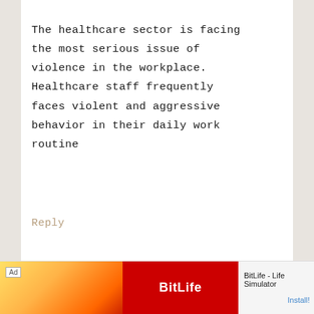The healthcare sector is facing the most serious issue of violence in the workplace. Healthcare staff frequently faces violent and aggressive behavior in their daily work routine
Reply
[Figure (illustration): Default grey avatar silhouette showing a person outline with circular head and rounded body]
JOURNALISM says
FEBRUARY 14, 2020 AT 5:48 AM
BitLife - Life Simulator
Install!